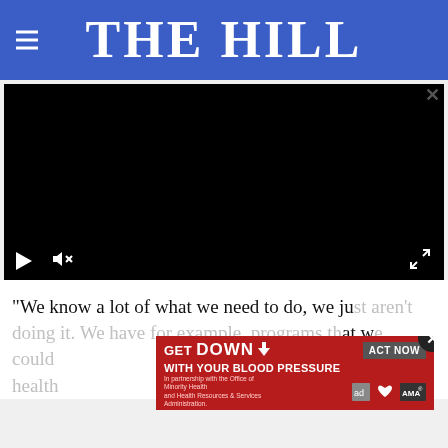THE HILL
[Figure (screenshot): Embedded video player with black screen, play button, mute button, and fullscreen button controls at bottom]
“We know a lot of what we need to do, we just aren’t doing it. We have for example, programs th[at] we could [use to address] mental health[...]